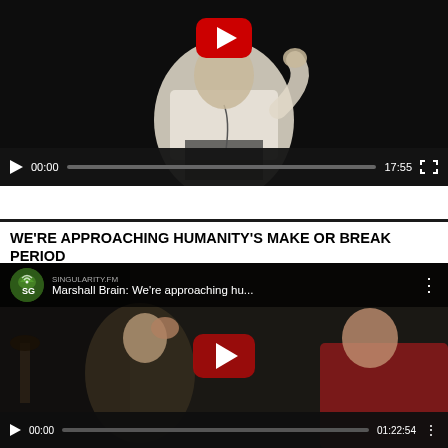[Figure (screenshot): YouTube video player showing a speaker in white shirt on dark stage. Controls show 00:00 current time and 17:55 duration. A red YouTube play button overlay is visible at top center.]
WE'RE APPROACHING HUMANITY'S MAKE OR BREAK PERIOD
[Figure (screenshot): YouTube video embed titled 'Marshall Brain: We're approaching hu...' showing two people in a dark room interview setting. Red play button visible in center. Controls show 00:00 current time and 01:22:54 duration. Channel logo visible in top left.]